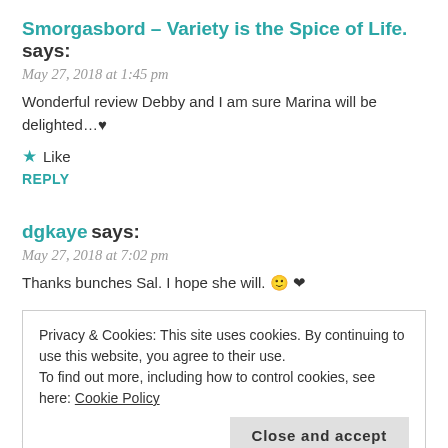Smorgasbord – Variety is the Spice of Life. says:
May 27, 2018 at 1:45 pm
Wonderful review Debby and I am sure Marina will be delighted…♥
★ Like
REPLY
dgkaye says:
May 27, 2018 at 7:02 pm
Thanks bunches Sal. I hope she will. 🙂 ❤
Privacy & Cookies: This site uses cookies. By continuing to use this website, you agree to their use. To find out more, including how to control cookies, see here: Cookie Policy
Close and accept
May 27, 2018 at 3:27 pm